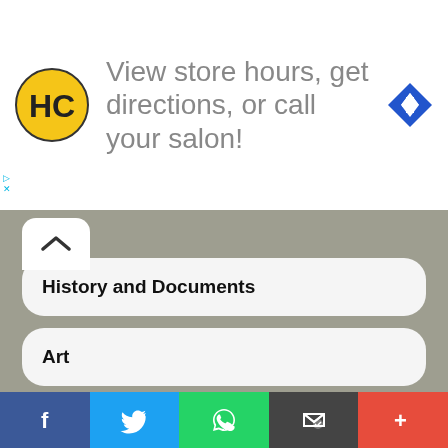[Figure (infographic): Advertisement banner: HC logo (yellow circle with HC letters), text 'View store hours, get directions, or call your salon!', blue diamond navigation arrow icon, and small ad indicator labels]
History and Documents
Art
Virtual Tour
Movies and Videos
News and Contacts
[Figure (infographic): Social sharing bar with icons: Facebook (blue), Twitter (light blue), WhatsApp (green), Email (dark gray), More/Plus (red)]